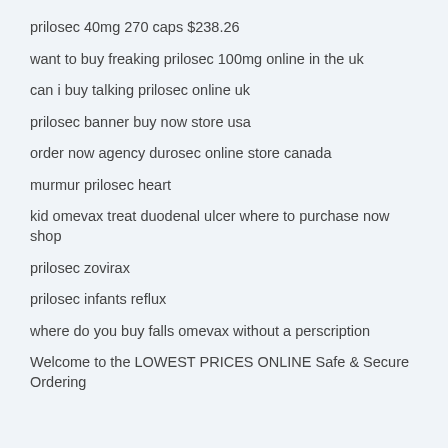prilosec 40mg 270 caps $238.26
want to buy freaking prilosec 100mg online in the uk
can i buy talking prilosec online uk
prilosec banner buy now store usa
order now agency durosec online store canada
murmur prilosec heart
kid omevax treat duodenal ulcer where to purchase now shop
prilosec zovirax
prilosec infants reflux
where do you buy falls omevax without a perscription
Welcome to the LOWEST PRICES ONLINE Safe & Secure Ordering